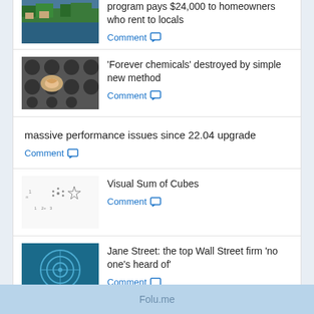program pays $24,000 to homeowners who rent to locals
'Forever chemicals' destroyed by simple new method
massive performance issues since 22.04 upgrade
Visual Sum of Cubes
Jane Street: the top Wall Street firm 'no one's heard of'
Folu.me